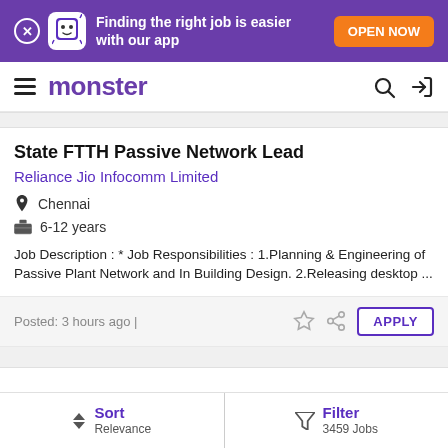[Figure (screenshot): Monster job board app promotion banner with purple background, mascot, and orange OPEN NOW button]
[Figure (logo): Monster.com navigation bar with hamburger menu, Monster logo in purple, search icon, and login icon]
State FTTH Passive Network Lead
Reliance Jio Infocomm Limited
Chennai
6-12 years
Job Description : * Job Responsibilities : 1.Planning & Engineering of Passive Plant Network and In Building Design. 2.Releasing desktop ...
Posted: 3 hours ago |
Sort
Relevance
Filter
3459 Jobs